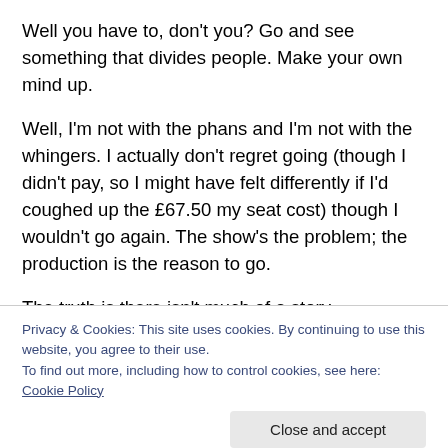Well you have to, don't you? Go and see something that divides people. Make your own mind up.
Well, I'm not with the phans and I'm not with the whingers. I actually don't regret going (though I didn't pay, so I might have felt differently if I'd coughed up the £67.50 my seat cost) though I wouldn't go again. The show's the problem; the production is the reason to go.
The truth is there isn't much of a story – SPOILER WATCH – Phantom goes to NYC and sets up a freak
Privacy & Cookies: This site uses cookies. By continuing to use this website, you agree to their use.
To find out more, including how to control cookies, see here: Cookie Policy
Slater and another dose of ALW's mushy pop-opera